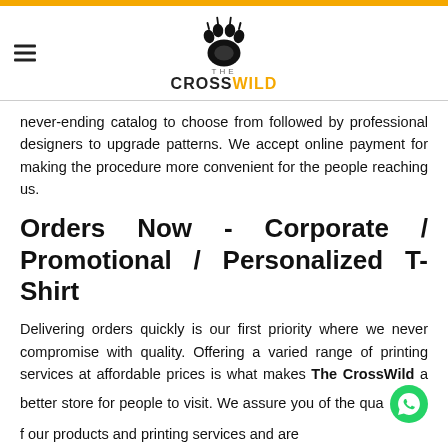[Figure (logo): The CrossWild logo with paw print icon and brand name]
never-ending catalog to choose from followed by professional designers to upgrade patterns. We accept online payment for making the procedure more convenient for the people reaching us.
Orders Now - Corporate / Promotional / Personalized T-Shirt
Delivering orders quickly is our first priority where we never compromise with quality. Offering a varied range of printing services at affordable prices is what makes The CrossWild a better store for people to visit. We assure you of the quality of our products and printing services and are